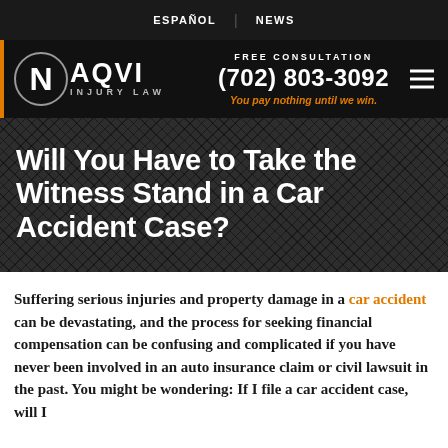ESPAÑOL | NEWS
[Figure (logo): Naqvi Injury Law logo with circle N emblem, FREE CONSULTATION, phone number (702) 803-3092, and tagline 'You pay nothing until we win.']
Will You Have to Take the Witness Stand in a Car Accident Case?
Suffering serious injuries and property damage in a car accident can be devastating, and the process for seeking financial compensation can be confusing and complicated if you have never been involved in an auto insurance claim or civil lawsuit in the past. You might be wondering: If I file a car accident case, will I